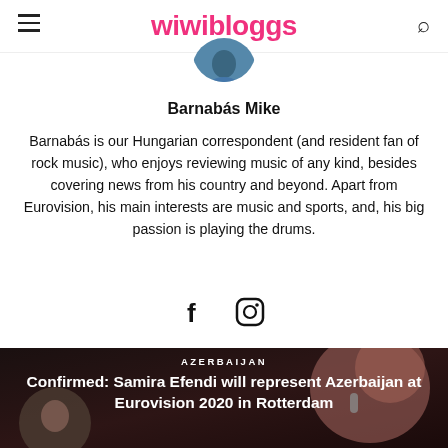wiwibloggs
[Figure (photo): Circular profile photo of Barnabás Mike, partially cropped at top]
Barnabás Mike
Barnabás is our Hungarian correspondent (and resident fan of rock music), who enjoys reviewing music of any kind, besides covering news from his country and beyond. Apart from Eurovision, his main interests are music and sports, and, his big passion is playing the drums.
[Figure (other): Facebook and Instagram social media icons]
[Figure (photo): Article card image showing Samira Efendi performing on stage with microphone, dark background with another circular photo overlay]
AZERBAIJAN
Confirmed: Samira Efendi will represent Azerbaijan at Eurovision 2020 in Rotterdam